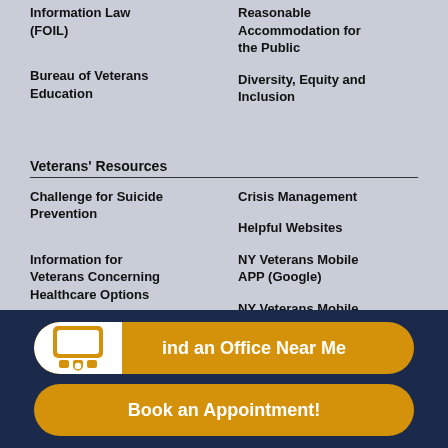Information Law (FOIL)
Reasonable Accommodation for the Public
Bureau of Veterans Education
Diversity, Equity and Inclusion
Veterans' Resources
Challenge for Suicide Prevention
Crisis Management
Helpful Websites
Information for Veterans Concerning Healthcare Options
NY Veterans Mobile APP (Google)
NY Veterans Mobile
Find an Office Near Me
Book an Appointment!